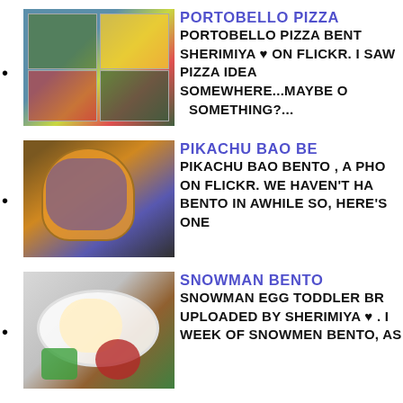PORTOBELLO PIZZA BENTO SHERIMIYA ♥ ON FLICKR. I SAW PIZZA IDEA SOMEWHERE...MAYBE O SOMETHING?...
PIKACHU BAO BENTO , A PHO ON FLICKR. WE HAVEN'T HA BENTO IN AWHILE SO, HERE'S ONE
SNOWMAN EGG TODDLER BR UPLOADED BY SHERIMIYA ♥ . I WEEK OF SNOWMEN BENTO, AS